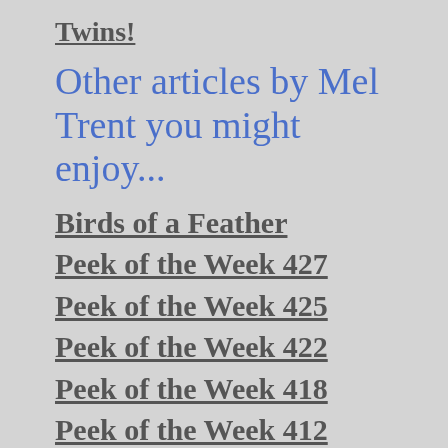Twins!
Other articles by Mel Trent you might enjoy...
Birds of a Feather
Peek of the Week 427
Peek of the Week 425
Peek of the Week 422
Peek of the Week 418
Peek of the Week 412
Peek of the Week 408